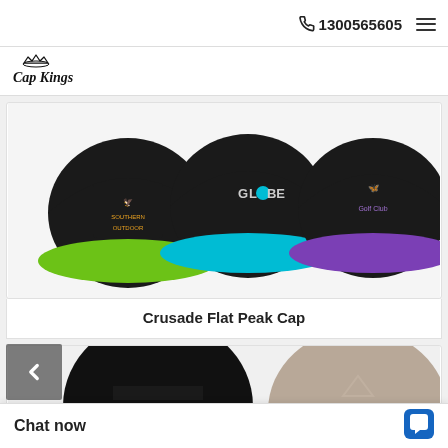1300565605
[Figure (logo): Cap Kings logo - handwritten style text with crown]
[Figure (photo): Three black snapback caps with colored brims (green, cyan, purple) with logos: Southern Outdoor, GLOBE, Golf Club]
Crusade Flat Peak Cap
[Figure (photo): Two caps: one solid black snapback and one grey/tan cap partially visible]
Chat now